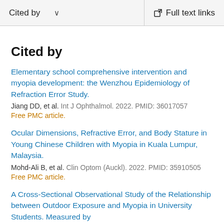Cited by   Full text links
Cited by
Elementary school comprehensive intervention and myopia development: the Wenzhou Epidemiology of Refraction Error Study.
Jiang DD, et al. Int J Ophthalmol. 2022. PMID: 36017057
Free PMC article.
Ocular Dimensions, Refractive Error, and Body Stature in Young Chinese Children with Myopia in Kuala Lumpur, Malaysia.
Mohd-Ali B, et al. Clin Optom (Auckl). 2022. PMID: 35910505
Free PMC article.
A Cross-Sectional Observational Study of the Relationship between Outdoor Exposure and Myopia in University Students. Measured by